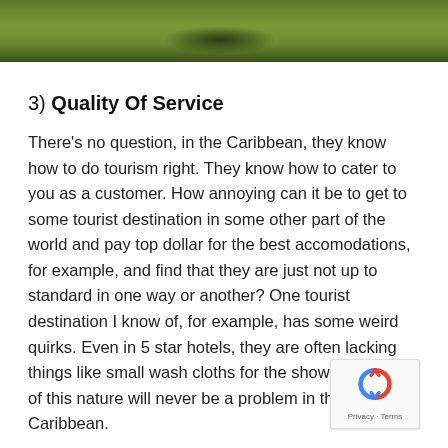[Figure (photo): Green grassy landscape or golf course, aerial or ground-level view, shown as a cropped strip at the top of the page.]
3) Quality Of Service
There's no question, in the Caribbean, they know how to do tourism right. They know how to cater to you as a customer. How annoying can it be to get to some tourist destination in some other part of the world and pay top dollar for the best accomodations, for example, and find that they are just not up to standard in one way or another? One tourist destination I know of, for example, has some weird quirks. Even in 5 star hotels, they are often lacking things like small wash cloths for the shower! Things of this nature will never be a problem in the Caribbean.
4) Scalability